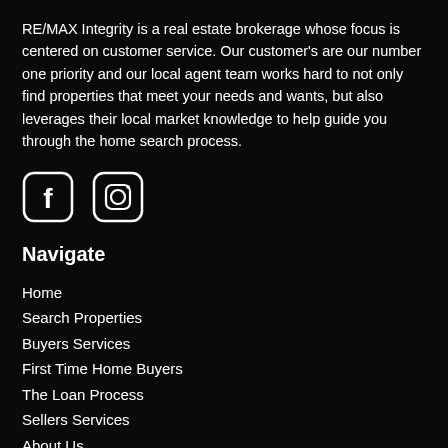RE/MAX Integrity is a real estate brokerage whose focus is centered on customer service. Our customer's are our number one priority and our local agent team works hard to not only find properties that meet your needs and wants, but also leverages their local market knowledge to help guide you through the home search process.
[Figure (logo): Facebook icon (rounded square with letter f) and Instagram icon (rounded square with camera outline) as social media links]
Navigate
Home
Search Properties
Buyers Services
First Time Home Buyers
The Loan Process
Sellers Services
About Us
Contact Us